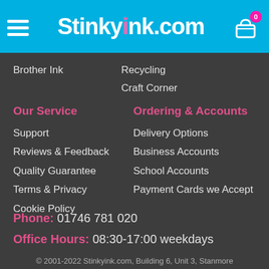Stinkyink.com
Brother Ink
Recycling
Craft Corner
Our Service
Ordering & Accounts
Support
Delivery Options
Reviews & Feedback
Business Accounts
Quality Guarantee
School Accounts
Terms & Privacy
Payment Cards we Accept
Cookie Policy
Phone: 01746 781 020
Office Hours: 08:30-17:00 weekdays
© 2001-2022 Stinkyink.com, Building 6, Unit 3, Stanmore